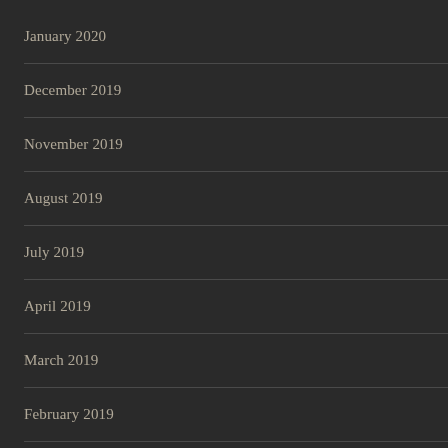January 2020
December 2019
November 2019
August 2019
July 2019
April 2019
March 2019
February 2019
January 2019
December 2018
November 2018